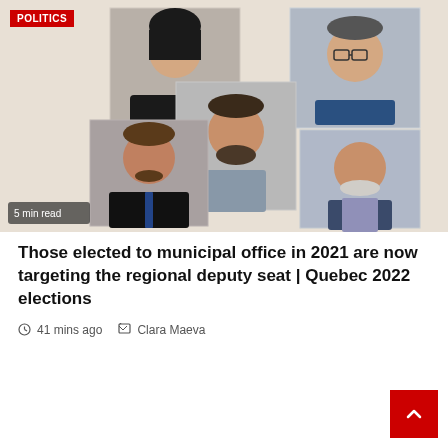[Figure (photo): News article hero image showing a collage of five political candidates against a beige background, with a red POLITICS badge in the top-left corner and a '5 min read' label in the bottom-left corner.]
Those elected to municipal office in 2021 are now targeting the regional deputy seat | Quebec 2022 elections
41 mins ago   Clara Maeva